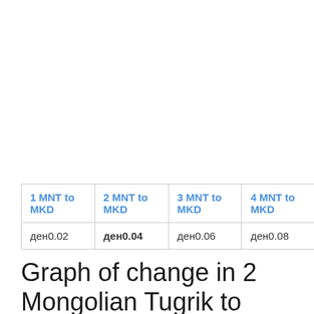| 1 MNT to MKD | 2 MNT to MKD | 3 MNT to MKD | 4 MNT to MKD |
| --- | --- | --- | --- |
| ден0.02 | ден0.04 | ден0.06 | ден0.08 |
Graph of change in 2 Mongolian Tugrik to Macedonian Denari rate